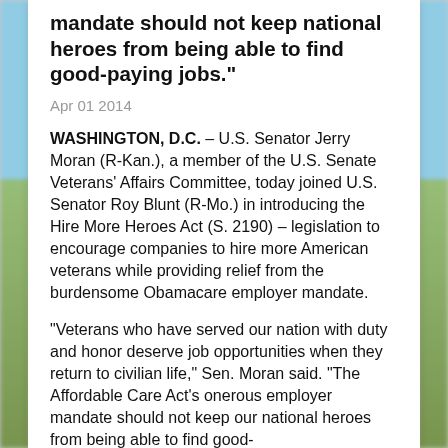mandate should not keep national heroes from being able to find good-paying jobs."
Apr 01 2014
WASHINGTON, D.C. – U.S. Senator Jerry Moran (R-Kan.), a member of the U.S. Senate Veterans' Affairs Committee, today joined U.S. Senator Roy Blunt (R-Mo.) in introducing the Hire More Heroes Act (S. 2190) – legislation to encourage companies to hire more American veterans while providing relief from the burdensome Obamacare employer mandate.
"Veterans who have served our nation with duty and honor deserve job opportunities when they return to civilian life," Sen. Moran said. "The Affordable Care Act's onerous employer mandate should not keep our national heroes from being able to find good-